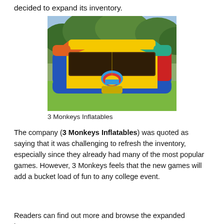decided to expand its inventory.
[Figure (photo): A colorful inflatable bounce house with yellow, blue, red, orange, green, and teal sections, sitting on grass with trees in the background.]
3 Monkeys Inflatables
The company (3 Monkeys Inflatables) was quoted as saying that it was challenging to refresh the inventory, especially since they already had many of the most popular games. However, 3 Monkeys feels that the new games will add a bucket load of fun to any college event.
Readers can find out more and browse the expanded inventory